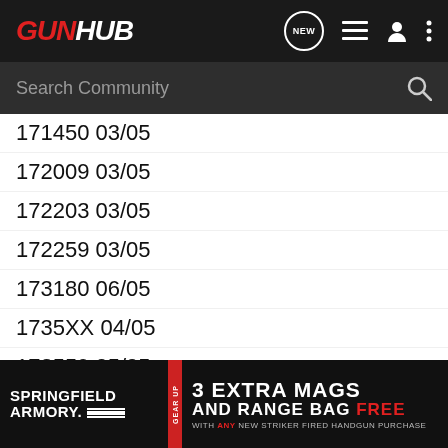GUNHUB
Search Community
171450 03/05
172009 03/05
172203 03/05
172259 03/05
173180 06/05
1735XX 04/05
173559 05/05
174269 05/05
174278 05/05
17439X 05/05
174514 05/05
1747XX 06/05
175055 06/05
175450
176067
[Figure (screenshot): Springfield Armory advertisement: 3 EXTRA MAGS AND RANGE BAG FREE WITH ANY NEW STRIKER FIRED HANDGUN PURCHASE]